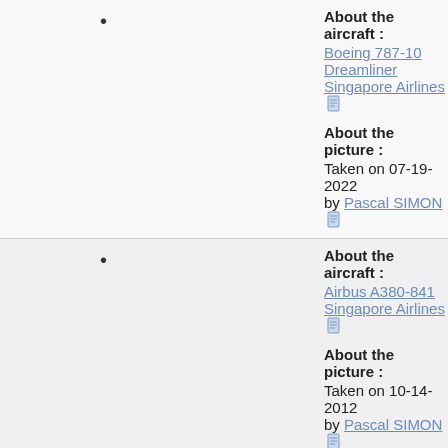About the aircraft: Boeing 787-10 Dreamliner Singapore Airlines
About the picture: Taken on 07-19-2022 by Pascal SIMON
About the aircraft: Airbus A380-841 Singapore Airlines
About the picture: Taken on 10-14-2012 by Pascal SIMON
About the aircraft: Boeing 787-10 Dreamliner Singapore Airlines
About the picture: Taken on 07-05-2022 by Pascal SIMON
About the aircraft: Boeing 777-312/ER Singapore Airlines
About the picture: Taken on 06-21-2022 by Bastian LUDI
About the aircraft: Boeing 787-10 Dreamliner Singapore Airlines